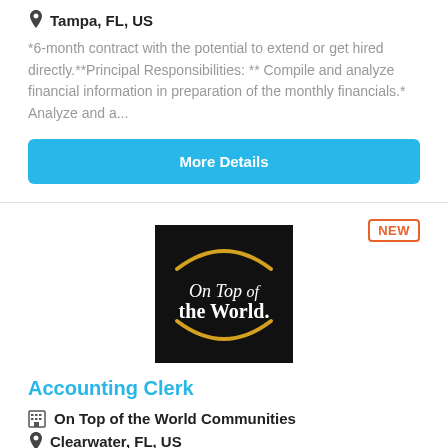Tampa, FL, US
*6-month contract with the potential to extend or get hired directly.**Principal Responsibilities: ** Compile and analyze financial information in preparation of the monthly financials.* Analyze and a...
More Details
[Figure (logo): On Top of the World logo — black square background with gold arc above and below white text reading 'On Top of the World.']
Accounting Clerk
On Top of the World Communities
Clearwater, FL, US